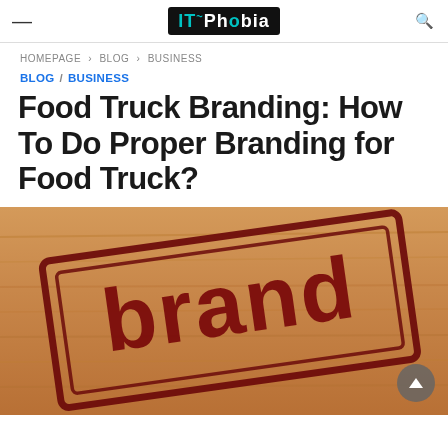IT Phobia (logo header with hamburger menu and search icon)
HOMEPAGE > BLOG > BUSINESS
BLOG / BUSINESS
Food Truck Branding: How To Do Proper Branding for Food Truck?
[Figure (photo): A rubber stamp with the word 'brand' in dark red/maroon ink stamped on a wooden surface background.]